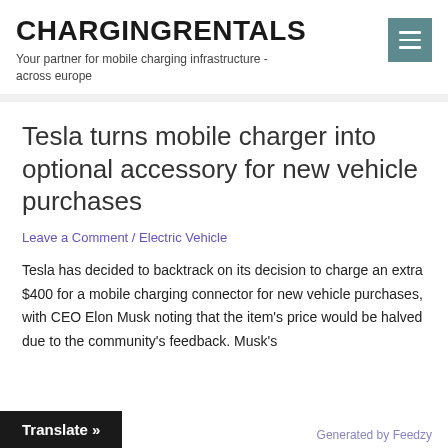CHARGINGRENTALS — Your partner for mobile charging infrastructure - across europe
Tesla turns mobile charger into optional accessory for new vehicle purchases
Leave a Comment / Electric Vehicle
Tesla has decided to backtrack on its decision to charge an extra $400 for a mobile charging connector for new vehicle purchases, with CEO Elon Musk noting that the item's price would be halved due to the community's feedback. Musk's understatement.
Translate »
Generated by Feedzy